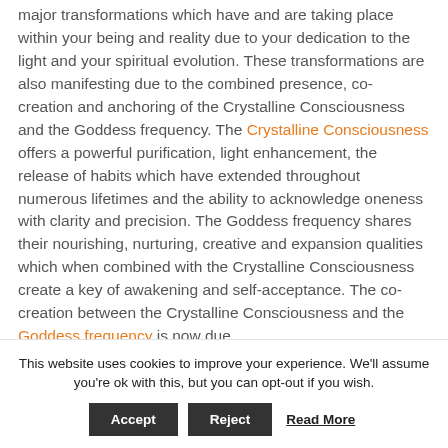major transformations which have and are taking place within your being and reality due to your dedication to the light and your spiritual evolution. These transformations are also manifesting due to the combined presence, co- creation and anchoring of the Crystalline Consciousness and the Goddess frequency. The Crystalline Consciousness offers a powerful purification, light enhancement, the release of habits which have extended throughout numerous lifetimes and the ability to acknowledge oneness with clarity and precision. The Goddess frequency shares their nourishing, nurturing, creative and expansion qualities which when combined with the Crystalline Consciousness create a key of awakening and self-acceptance. The co-creation between the Crystalline Consciousness and the Goddess frequency is now due
This website uses cookies to improve your experience. We'll assume you're ok with this, but you can opt-out if you wish. Accept Reject Read More